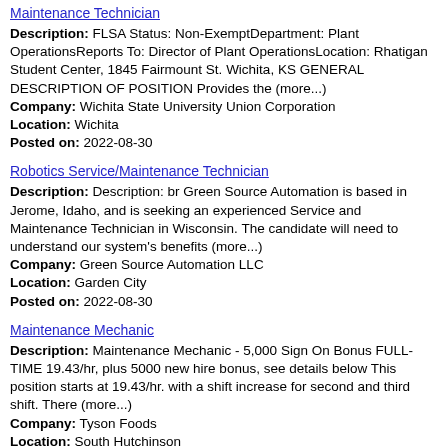Maintenance Technician
Description: FLSA Status: Non-ExemptDepartment: Plant OperationsReports To: Director of Plant OperationsLocation: Rhatigan Student Center, 1845 Fairmount St. Wichita, KS GENERAL DESCRIPTION OF POSITION Provides the (more...)
Company: Wichita State University Union Corporation
Location: Wichita
Posted on: 2022-08-30
Robotics Service/Maintenance Technician
Description: Description: br Green Source Automation is based in Jerome, Idaho, and is seeking an experienced Service and Maintenance Technician in Wisconsin. The candidate will need to understand our system's benefits (more...)
Company: Green Source Automation LLC
Location: Garden City
Posted on: 2022-08-30
Maintenance Mechanic
Description: Maintenance Mechanic - 5,000 Sign On Bonus FULL-TIME 19.43/hr, plus 5000 new hire bonus, see details below This position starts at 19.43/hr. with a shift increase for second and third shift. There (more...)
Company: Tyson Foods
Location: South Hutchinson
Posted on: 2022-08-23
Lawn Maintenance